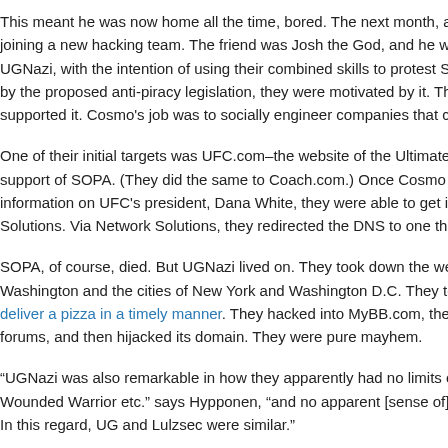This meant he was now home all the time, bored. The next month, an o joining a new hacking team. The friend was Josh the God, and he was p UGNazi, with the intention of using their combined skills to protest SOPA by the proposed anti-piracy legislation, they were motivated by it. They w supported it. Cosmo's job was to socially engineer companies that coul
One of their initial targets was UFC.com–the website of the Ultimate Fig support of SOPA. (They did the same to Coach.com.) Once Cosmo gath information on UFC's president, Dana White, they were able to get into t Solutions. Via Network Solutions, they redirected the DNS to one they c
SOPA, of course, died. But UGNazi lived on. They took down the websit Washington and the cities of New York and Washington D.C. They took deliver a pizza in a timely manner. They hacked into MyBB.com, the bac forums, and then hijacked its domain. They were pure mayhem.
“UGNazi was also remarkable in how they apparently had no limits on w Wounded Warrior etc.” says Hypponen, “and no apparent [sense of] selt In this regard, UG and Lulzsec were similar.”
The group’s last big takedown was 4Chan. “Josh thought everyone on 4 explained. But there was more than likely another motivation as well: Lu